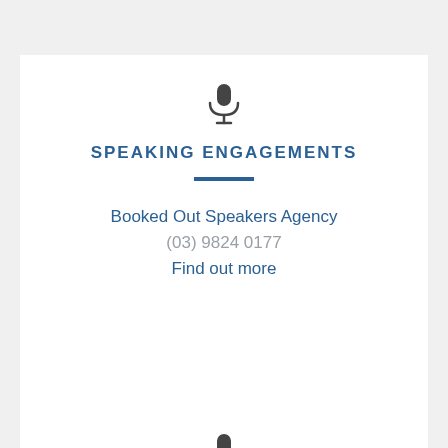[Figure (illustration): Microphone icon in dark gray]
SPEAKING ENGAGEMENTS
Booked Out Speakers Agency
(03) 9824 0177
Find out more
[Figure (illustration): Microphone icon in dark gray]
VOICE AGENT